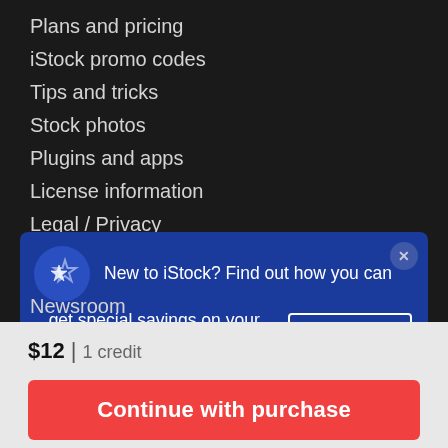Plans and pricing
iStock promo codes
Tips and tricks
Stock photos
Plugins and apps
License information
Legal / Privacy
VisualGPS Insights
[Figure (infographic): Promotional banner on blue background with star icon: 'New to iStock? Find out how you can get special savings on your favorite images and videos.' with 'See details' button and close X button]
Newsroom
$12 | 1 credit
Continue with purchase